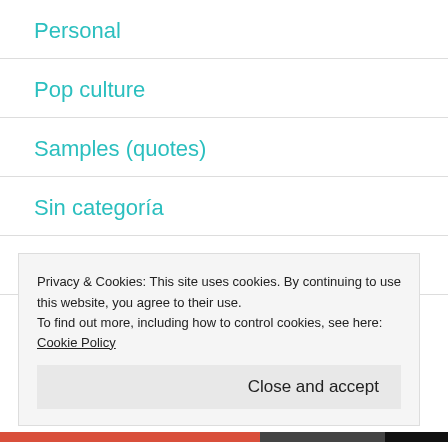Personal
Pop culture
Samples (quotes)
Sin categoría
Symbolism
The Screen
Privacy & Cookies: This site uses cookies. By continuing to use this website, you agree to their use.
To find out more, including how to control cookies, see here: Cookie Policy
Close and accept